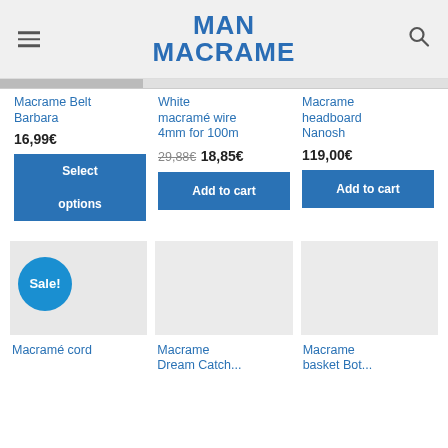MAN MACRAME
[Figure (screenshot): Partial product image strip at top of product listings]
Macrame Belt Barbara
16,99€
Select options
White macramé wire 4mm for 100m
29,88€  18,85€
Add to cart
Macrame headboard Nanosh
119,00€
Add to cart
[Figure (photo): Product image placeholder with Sale! badge - Macramé cord]
[Figure (photo): Product image placeholder - Macrame Dream Catcher]
[Figure (photo): Product image placeholder - Macrame basket]
Macramé cord
Macrame Dream Catch...
Macrame basket Bot...